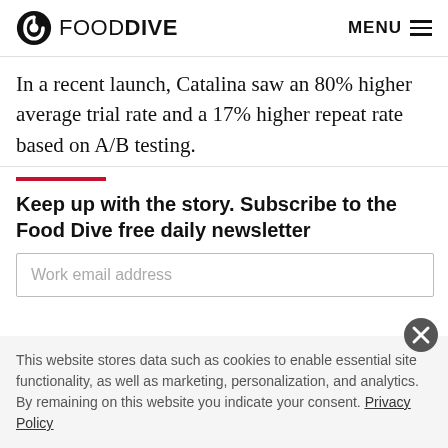FOOD DIVE  MENU
In a recent launch, Catalina saw an 80% higher average trial rate and a 17% higher repeat rate based on A/B testing.
Keep up with the story. Subscribe to the Food Dive free daily newsletter
Work email address
This website stores data such as cookies to enable essential site functionality, as well as marketing, personalization, and analytics. By remaining on this website you indicate your consent. Privacy Policy